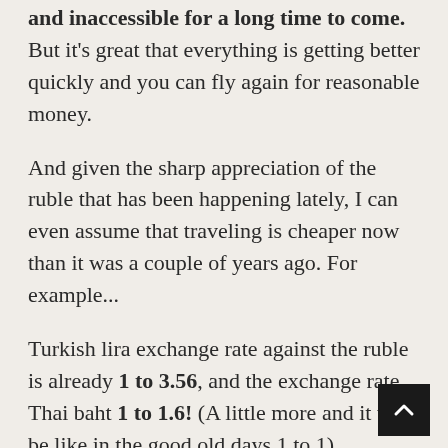and inaccessible for a long time to come. But it's great that everything is getting better quickly and you can fly again for reasonable money.
And given the sharp appreciation of the ruble that has been happening lately, I can even assume that traveling is cheaper now than it was a couple of years ago. For example...
Turkish lira exchange rate against the ruble is already 1 to 3.56, and the exchange rate Thai baht 1 to 1.6! (A little more and it will be like in the good old days 1 to 1).
Here all the guests will leave in the fall and immediately Let's start planning a trip to Thailand.